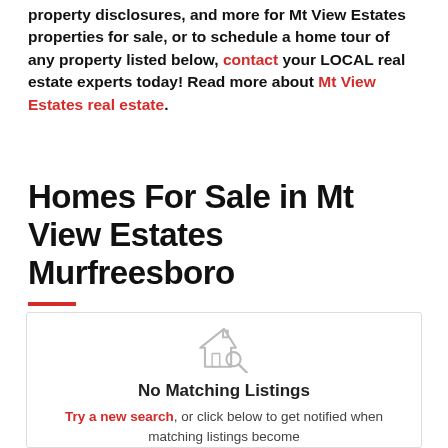property disclosures, and more for Mt View Estates properties for sale, or to schedule a home tour of any property listed below, contact your LOCAL real estate experts today! Read more about Mt View Estates real estate.
Homes For Sale in Mt View Estates Murfreesboro
[Figure (illustration): House with magnifying glass icon, gray outline style, indicating no search results]
No Matching Listings
Try a new search, or click below to get notified when matching listings become...